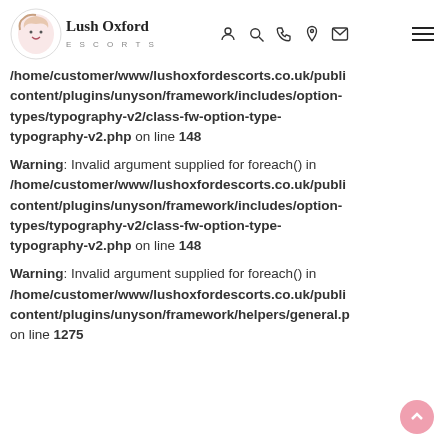Lush Oxford Escorts — navigation header
/home/customer/www/lushoxfordescorts.co.uk/public_html/wp-content/plugins/unyson/framework/includes/option-types/typography-v2/class-fw-option-type-typography-v2.php on line 148
Warning: Invalid argument supplied for foreach() in /home/customer/www/lushoxfordescorts.co.uk/public_html/wp-content/plugins/unyson/framework/includes/option-types/typography-v2/class-fw-option-type-typography-v2.php on line 148
Warning: Invalid argument supplied for foreach() in /home/customer/www/lushoxfordescorts.co.uk/public_html/wp-content/plugins/unyson/framework/helpers/general.php on line 1275